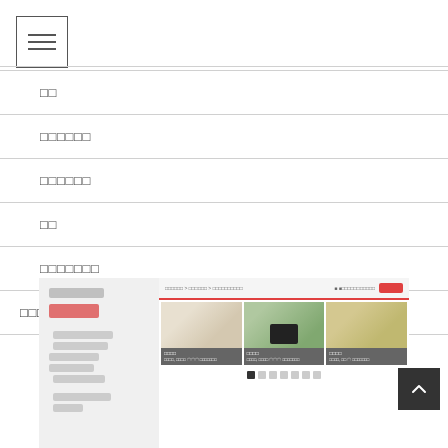[Figure (screenshot): Navigation menu icon with three horizontal lines inside a bordered square]
□□
□□□□□□
□□□□□□
□□
□□□□□□□
□□□□□□□□□
[Figure (screenshot): Website screenshot showing a navigation sidebar on the left and a product grid with three items (cloth/textile, tablet, food/drink) in the main area, with a red accent bar at the top and pagination dots at the bottom]